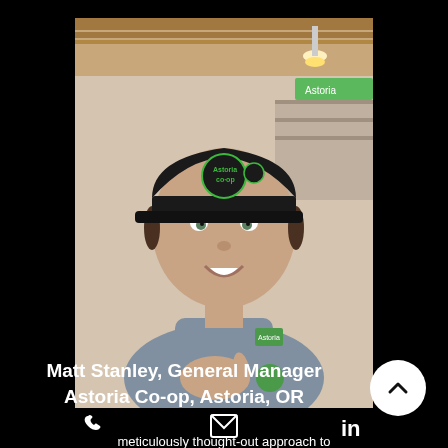[Figure (photo): Photo of a man wearing a black Astoria Co-op cap and a grey button-up shirt, smiling and pointing with his fingers, inside a grocery store.]
Matt Stanley, General Manager
Astoria Co-op, Astoria, OR
[Figure (other): Navigation icons row: phone icon, email/envelope icon, LinkedIn logo icon]
meticulously thought-out approach to